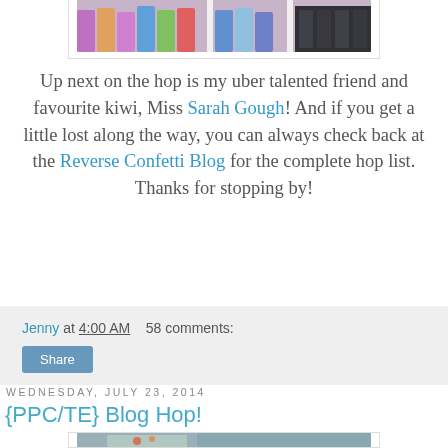[Figure (photo): Partial view of craft supplies (markers/pens) organized in white storage containers on a wooden surface]
Up next on the hop is my uber talented friend and favourite kiwi, Miss Sarah Gough! And if you get a little lost along the way, you can always check back at the Reverse Confetti Blog for the complete hop list. Thanks for stopping by!
Jenny at 4:00 AM   58 comments:
Share
Wednesday, July 23, 2014
{PPC/TE} Blog Hop!
[Figure (photo): Partial view of a crafted card with floral/decorative elements on a teal/green patterned background]